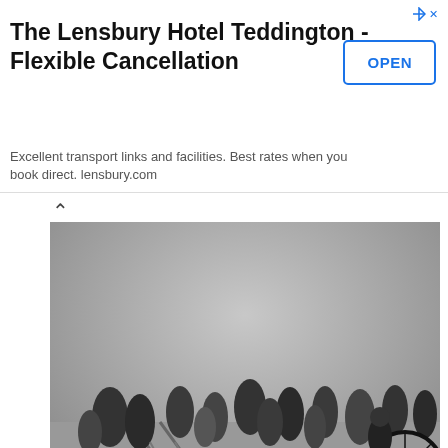[Figure (other): Advertisement banner: The Lensbury Hotel Teddington - Flexible Cancellation, with OPEN button]
[Figure (photo): Historical black and white street scene with people walking and a cyclist. Large text 'NORTHGATE' overlaid at the bottom.]
Northgate stretched from the junction top of Woolshops/bottom of Old Market all the way to North Bridge. (Even numbers on left)
[Figure (map): Old street map showing Northgate area with building plots numbered, including North Parade, Foundry Street, Keymorth Street areas, with plot numbers 42, 44, 45, 46, 47 visible.]